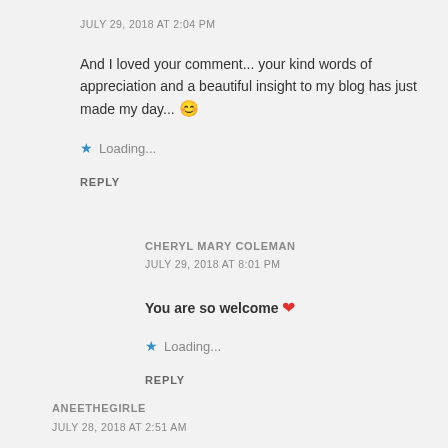JULY 29, 2018 AT 2:04 PM
And I loved your comment... your kind words of appreciation and a beautiful insight to my blog has just made my day... 😊
⭐ Loading...
REPLY
CHERYL MARY COLEMAN
JULY 29, 2018 AT 8:01 PM
You are so welcome ❤
⭐ Loading...
REPLY
ANEETHEGIRLE
JULY 28, 2018 AT 2:51 AM